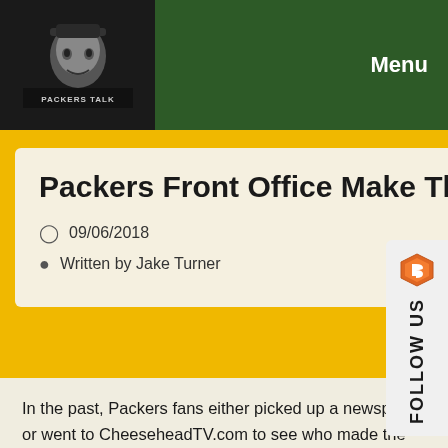PACKERS TALK | Menu
Packers Front Office Make Their Mark Quietly
09/06/2018
Written by Jake Turner
In the past, Packers fans either picked up a newspaper or went to CheeseheadTV.com to see who made the 53-man roster of the Green Bay Packers. General manager Ted Thompson would go to a quiet place (loosely inspired by the blockbuster film, see it if you haven't yet) and make one or two moves. His biggest move in 2017 at this point was signing former 49ers linebacker Ahmad Brooks